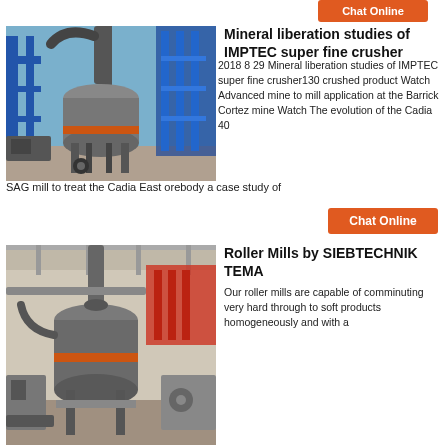[Figure (photo): Industrial crusher/mill machinery outdoors with blue metal structure and cylindrical grey mill body]
Mineral liberation studies of IMPTEC super fine crusher
2018 8 29 Mineral liberation studies of IMPTEC super fine crusher130 crushed product Watch Advanced mine to mill application at the Barrick Cortez mine Watch The evolution of the Cadia 40 SAG mill to treat the Cadia East orebody a case study of
[Figure (photo): Indoor industrial roller mill facility with large grey cylindrical mill equipment and structural framework]
Roller Mills by SIEBTECHNIK TEMA
Our roller mills are capable of comminuting very hard through to soft products homogeneously and with a